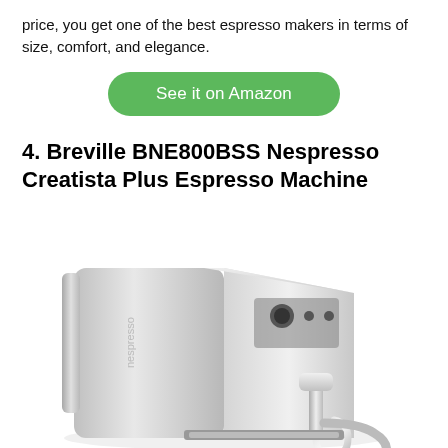price, you get one of the best espresso makers in terms of size, comfort, and elegance.
See it on Amazon
4. Breville BNE800BSS Nespresso Creatista Plus Espresso Machine
[Figure (photo): Photo of the Breville BNE800BSS Nespresso Creatista Plus Espresso Machine — a stainless steel espresso machine shown from a 3/4 angle, with a chrome steam wand and digital display panel visible.]